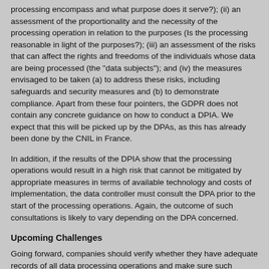processing encompass and what purpose does it serve?); (ii) an assessment of the proportionality and the necessity of the processing operation in relation to the purposes (Is the processing reasonable in light of the purposes?); (iii) an assessment of the risks that can affect the rights and freedoms of the individuals whose data are being processed (the "data subjects"); and (iv) the measures envisaged to be taken (a) to address these risks, including safeguards and security measures and (b) to demonstrate compliance. Apart from these four pointers, the GDPR does not contain any concrete guidance on how to conduct a DPIA. We expect that this will be picked up by the DPAs, as this has already been done by the CNIL in France.
In addition, if the results of the DPIA show that the processing operations would result in a high risk that cannot be mitigated by appropriate measures in terms of available technology and costs of implementation, the data controller must consult the DPA prior to the start of the processing operations. Again, the outcome of such consultations is likely to vary depending on the DPA concerned.
Upcoming Challenges
Going forward, companies should verify whether they have adequate records of all data processing operations and make sure such records are being kept up to date. This will in practice require companies to assign specific resources to ensure regular updates and follow-up of those records. In addition, companies will need to verify whether any of